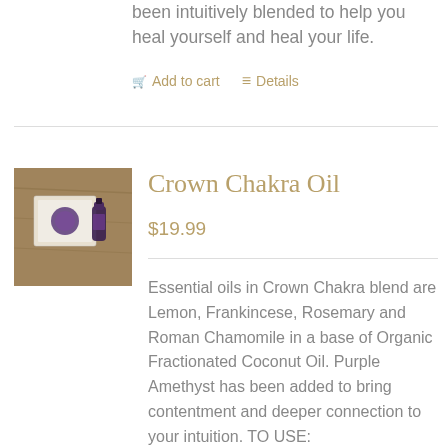been intuitively blended to help you heal yourself and heal your life.
Add to cart   Details
[Figure (photo): Product photo of Crown Chakra Oil kit showing a small bottle and packaging on a wooden surface]
Crown Chakra Oil
$19.99
Essential oils in Crown Chakra blend are Lemon, Frankincese, Rosemary and Roman Chamomile in a base of Organic Fractionated Coconut Oil. Purple Amethyst has been added to bring contentment and deeper connection to your intuition. TO USE: